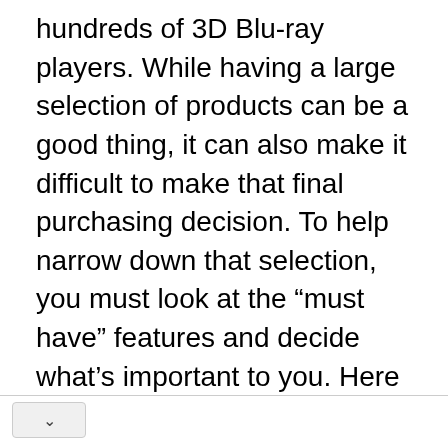hundreds of 3D Blu-ray players. While having a large selection of products can be a good thing, it can also make it difficult to make that final purchasing decision. To help narrow down that selection, you must look at the “must have” features and decide what’s important to you. Here are tips on what to look for in a 3D Blu-ray player to help you make the best purchase.